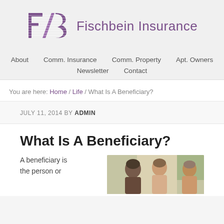[Figure (logo): Fischbein Insurance logo with stylized FIS letters in purple and company name]
About | Comm. Insurance | Comm. Property | Apt. Owners | Newsletter | Contact
You are here: Home / Life / What Is A Beneficiary?
JULY 11, 2014 BY ADMIN
What Is A Beneficiary?
A beneficiary is the person or
[Figure (photo): Photo of people, appearing to be a family group or meeting, with outdoor background]